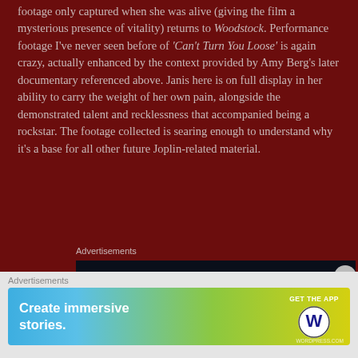footage only captured when she was alive (giving the film a mysterious presence of vitality) returns to Woodstock. Performance footage I've never seen before of 'Can't Turn You Loose' is again crazy, actually enhanced by the context provided by Amy Berg's later documentary referenced above. Janis here is on full display in her ability to carry the weight of her own pain, alongside the demonstrated talent and recklessness that accompanied being a rockstar. The footage collected is searing enough to understand why it's a base for all other future Joplin-related material.
Advertisements
[Figure (screenshot): Advertisement banner for a productivity app showing a dark navy background with a logo consisting of two squares and the number 2, with bold white text reading 'Fewer meetings, more work' partially visible]
Advertisements
[Figure (screenshot): Advertisement for WordPress app showing a gradient background from blue to yellow-green with white text 'Create immersive stories.' and a call-to-action 'GET THE APP' with WordPress logo]